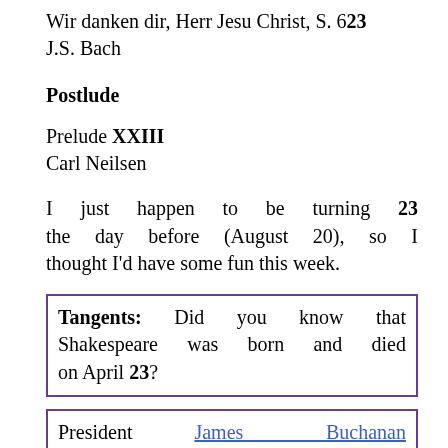Wir danken dir, Herr Jesu Christ, S. 623
J.S. Bach
Postlude
Prelude XXIII
Carl Neilsen
I just happen to be turning 23 the day before (August 20), so I thought I'd have some fun this week.
Tangents: Did you know that Shakespeare was born and died on April 23?
President James Buchanan (pictured above) was also born on April 23. When he was 23